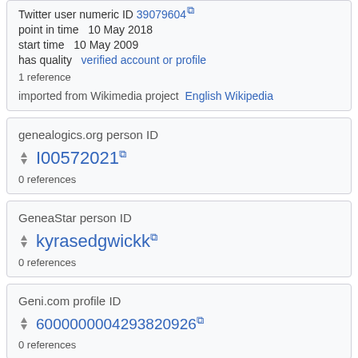Twitter user numeric ID 39079604 [ext]
point in time 10 May 2018
start time 10 May 2009
has quality verified account or profile
1 reference
imported from Wikimedia project English Wikipedia
genealogics.org person ID
I00572021 [ext]
0 references
GeneaStar person ID
kyrasedgwickk [ext]
0 references
Geni.com profile ID
6000000004293820926 [ext]
0 references